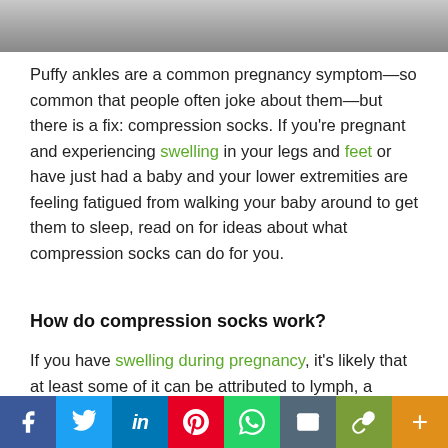[Figure (photo): Partial photo strip at top of page showing a person, cropped]
Puffy ankles are a common pregnancy symptom—so common that people often joke about them—but there is a fix: compression socks. If you're pregnant and experiencing swelling in your legs and feet or have just had a baby and your lower extremities are feeling fatigued from walking your baby around to get them to sleep, read on for ideas about what compression socks can do for you.
How do compression socks work?
If you have swelling during pregnancy, it's likely that at least some of it can be attributed to lymph, a colorless fluid that flows throughout the body after draining from